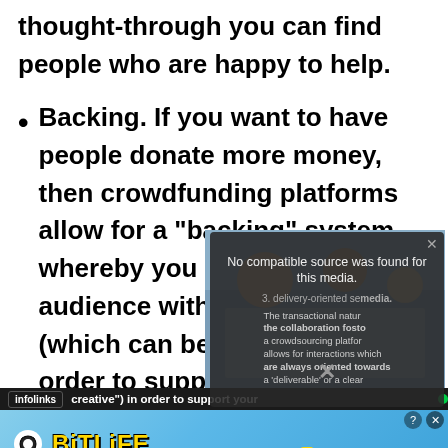thought-through you can find people who are happy to help.
Backing. If you want to have people donate more money, then crowdfunding platforms allow for a “backing” system whereby you can provide your audience with different rewards (which can be creative”) in order to support your
[Figure (screenshot): Video player overlay showing 'No compatible source was found for this media.' with text about transactional nature of collaboration fostered in a crowdsourcing platform allowing interactions oriented towards a deliverable or clear outcome. Background shows people in a meeting. Has a close X button.]
[Figure (screenshot): infolinks bar and BitLife 'NOW WITH GOD MODE' advertisement banner at the bottom of the page.]